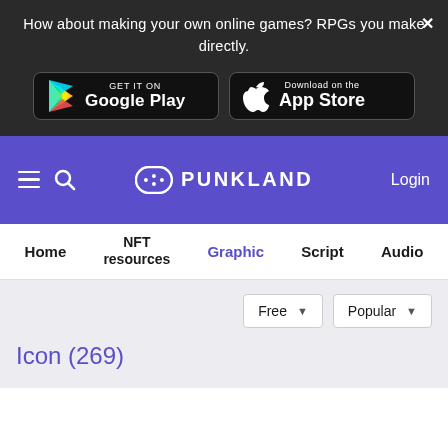How about making your own online games? RPGs you make directly.
[Figure (screenshot): Google Play store button with colorful triangle play icon]
[Figure (screenshot): Apple App Store download button with Apple logo]
[Figure (logo): PUNKLAND logo with game controller icon on purple navigation bar]
Login
Home
NFT resources
Graphic
Script
Audio
Free
Popular
Icon (269)